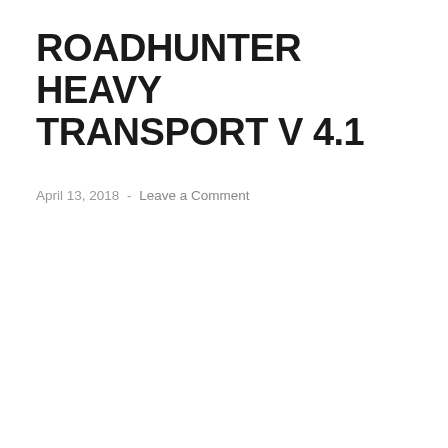ROADHUNTER HEAVY TRANSPORT V 4.1
April 13, 2018  -  Leave a Comment